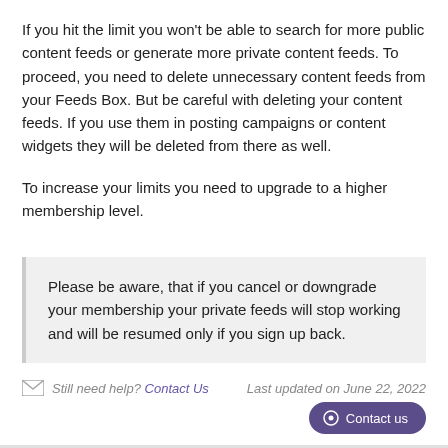If you hit the limit you won't be able to search for more public content feeds or generate more private content feeds. To proceed, you need to delete unnecessary content feeds from your Feeds Box. But be careful with deleting your content feeds. If you use them in posting campaigns or content widgets they will be deleted from there as well.
To increase your limits you need to upgrade to a higher membership level.
Please be aware, that if you cancel or downgrade your membership your private feeds will stop working and will be resumed only if you sign up back.
Still need help? Contact Us   Last updated on June 22, 2022